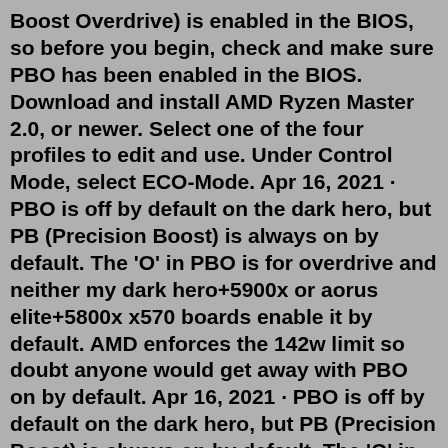Boost Overdrive) is enabled in the BIOS, so before you begin, check and make sure PBO has been enabled in the BIOS. Download and install AMD Ryzen Master 2.0, or newer. Select one of the four profiles to edit and use. Under Control Mode, select ECO-Mode. Apr 16, 2021 · PBO is off by default on the dark hero, but PB (Precision Boost) is always on by default. The 'O' in PBO is for overdrive and neither my dark hero+5900x or aorus elite+5800x x570 boards enable it by default. AMD enforces the 142w limit so doubt anyone would get away with PBO on by default. Apr 16, 2021 · PBO is off by default on the dark hero, but PB (Precision Boost) is always on by default. The 'O' in PBO is for overdrive and neither my dark hero+5900x or aorus elite+5800x x570 boards enable it by default. AMD enforces the 142w limit so doubt anyone would get away with PBO on by default. □□□□□□□□□□ PBO - Precision Boost Overdrive □□□□□□ RYZEN 2000 ... MSI -BIOS□□□ Enable □□□□□□□□□□□□ PPT Limit, TDC Limit, EDC Limit, Scalar: □□□□□ VCore offset 0.1000v Jun 10